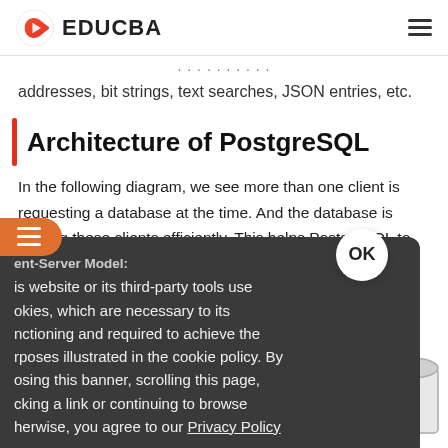EDUCBA
addresses, bit strings, text searches, JSON entries, etc.
Architecture of PostgreSQL
In the following diagram, we see more than one client is requesting a database at the time. And the database is serving these clients efficiently. This helps PostgreSQL to maintain integrity.
Client-Server Model:
is website or its third-party tools use okies, which are necessary to its nctioning and required to achieve the rposes illustrated in the cookie policy. By osing this banner, scrolling this page, cking a link or continuing to browse herwise, you agree to our Privacy Policy
[Figure (other): Partial diagram showing client-server model with arrows and cylindrical database shape]